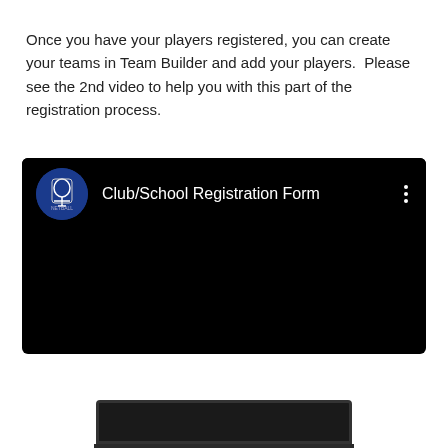Once you have your players registered, you can create your teams in Team Builder and add your players.  Please see the 2nd video to help you with this part of the registration process.
[Figure (screenshot): Embedded video player with black background showing 'Club/School Registration Form' title with a circular blue sports logo on the left and a vertical three-dot menu icon on the right.]
[Figure (screenshot): Bottom portion of a laptop computer showing the dark screen bezel and base.]